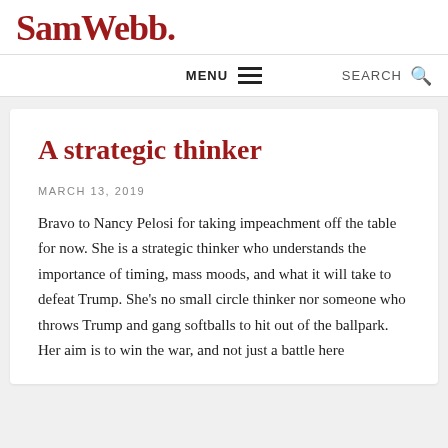SamWebb.
A strategic thinker
MARCH 13, 2019
Bravo to Nancy Pelosi for taking impeachment off the table for now. She is a strategic thinker who understands the importance of timing, mass moods, and what it will take to defeat Trump. She's no small circle thinker nor someone who throws Trump and gang softballs to hit out of the ballpark. Her aim is to win the war, and not just a battle here